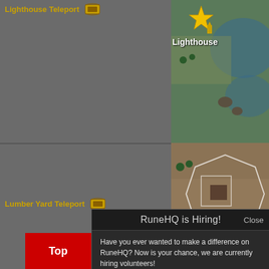[Figure (screenshot): RuneHQ website screenshot showing a map teleport page with grid layout. Top-left and bottom-left cells are grey with 'Lighthouse Teleport' and 'Lumber Yard Teleport' labels in orange. Top-right and bottom-right cells show game map thumbnails. A modal dialog overlays the lower portion.]
Lighthouse Teleport
Lumber Yard Teleport
Lighthouse
Lumber Yard
You are here
RuneHQ is Hiring!
Close
Have you ever wanted to make a difference on RuneHQ? Now is your chance, we are currently hiring volunteers!
For more information about staff roles and responsibilities see this area.
Once you are ready (and signed into the forums), you can find open applications on the navigation bar at the top of the forums.
Top
M